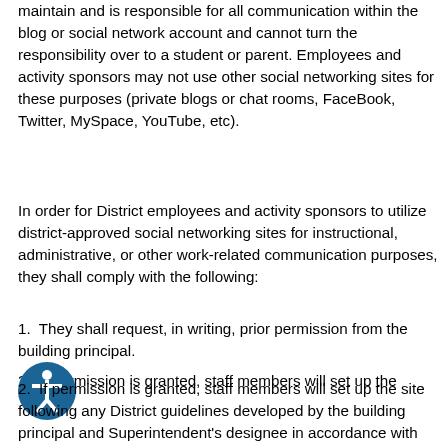maintain and is responsible for all communication within the blog or social network account and cannot turn the responsibility over to a student or parent. Employees and activity sponsors may not use other social networking sites for these purposes (private blogs or chat rooms, FaceBook, Twitter, MySpace, YouTube, etc). In order for District employees and activity sponsors to utilize district-approved social networking sites for instructional, administrative, or other work-related communication purposes, they shall comply with the following:
1. They shall request, in writing, prior permission from the building principal.
2. If permission is granted, staff members will set up the site following any District guidelines developed by the building principal and Superintendent's designee in accordance with District policies and procedures.
3. Have written parent permission from each student linked to the site on file in accordance with the record retention policies. The permission form can be accessed